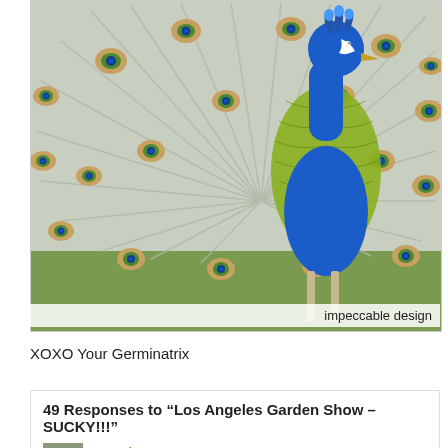[Figure (photo): A peacock with its tail feathers fanned out displaying vivid blue and green plumage with eye-spot patterns, standing on green grass.]
impeccable design
XOXO Your Germinatrix
49 Responses to “Los Angeles Garden Show – SUCKY!!!”
genevieve says: